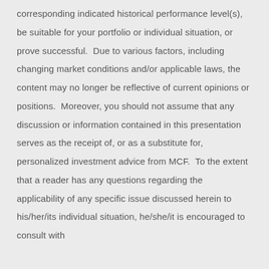corresponding indicated historical performance level(s), be suitable for your portfolio or individual situation, or prove successful.  Due to various factors, including changing market conditions and/or applicable laws, the content may no longer be reflective of current opinions or positions.  Moreover, you should not assume that any discussion or information contained in this presentation serves as the receipt of, or as a substitute for, personalized investment advice from MCF.  To the extent that a reader has any questions regarding the applicability of any specific issue discussed herein to his/her/its individual situation, he/she/it is encouraged to consult with